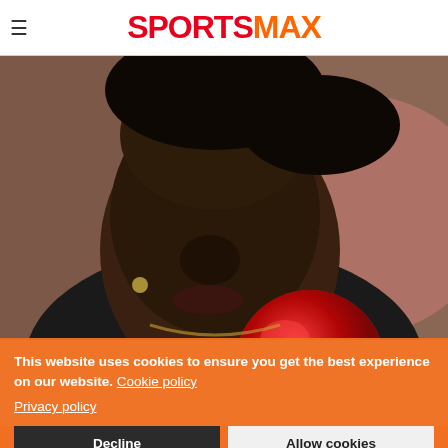SPORTSMAX
[Figure (photo): Close-up photo of a female athlete preparing to throw a shot put. She is holding a red shot put ball at her chin/neck, eyes closed, concentrating. She is wearing a black top. Background is blurred pink/grey tones suggesting a stadium.]
Brianna TheaLaEou... women into their quest... 2 and more Caribbean athletes beginning their quest for success.
This website uses cookies to ensure you get the best experience on our website. Cookie policy
Privacy policy
Decline
Allow cookies
second-longest jump of the qualifying round behind the 14.77...